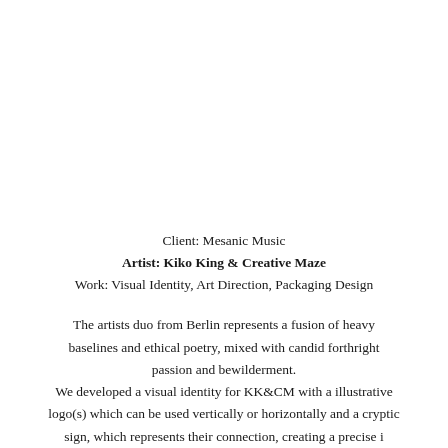Client: Mesanic Music
Artist: Kiko King & Creative Maze
Work: Visual Identity, Art Direction, Packaging Design
The artists duo from Berlin represents a fusion of heavy baselines and ethical poetry, mixed with candid forthright passion and bewilderment.
We developed a visual identity for KK&CM with a illustrative logo(s) which can be used vertically or horizontally and a cryptic sign, which represents their connection, creating a precise i